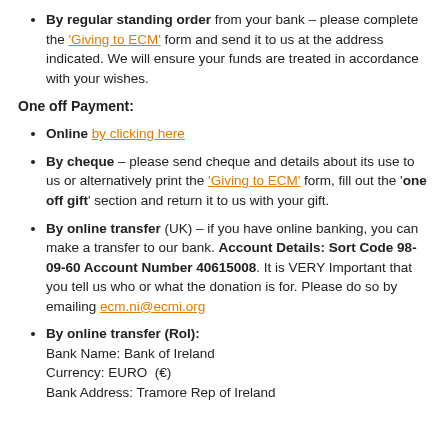By regular standing order from your bank – please complete the 'Giving to ECM' form and send it to us at the address indicated. We will ensure your funds are treated in accordance with your wishes.
One off Payment:
Online by clicking here
By cheque – please send cheque and details about its use to us or alternatively print the 'Giving to ECM' form, fill out the 'one off gift' section and return it to us with your gift.
By online transfer (UK) – if you have online banking, you can make a transfer to our bank. Account Details: Sort Code 98-09-60 Account Number 40615008. It is VERY Important that you tell us who or what the donation is for. Please do so by emailing ecm.ni@ecmi.org
By online transfer (RoI): Bank Name: Bank of Ireland Currency: EURO (€) Bank Address: Tramore Rep of Ireland